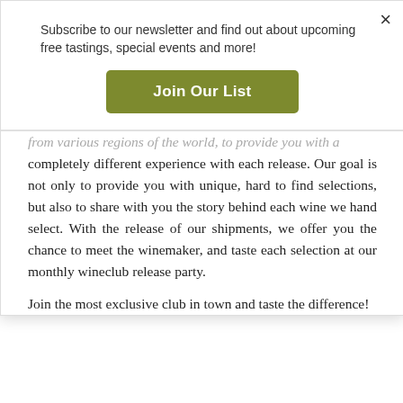Subscribe to our newsletter and find out about upcoming free tastings, special events and more!
Join Our List
from various regions of the world, to provide you with a completely different experience with each release. Our goal is not only to provide you with unique, hard to find selections, but also to share with you the story behind each wine we hand select. With the release of our shipments, we offer you the chance to meet the winemaker, and taste each selection at our monthly wineclub release party.
Join the most exclusive club in town and taste the difference!